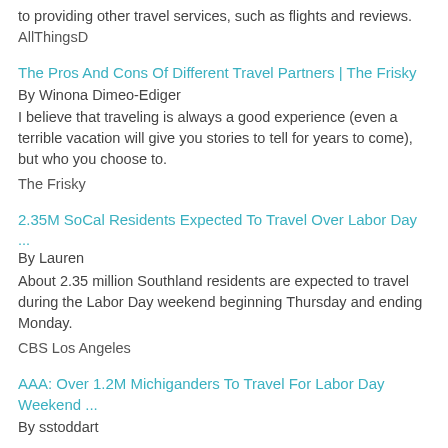to providing other travel services, such as flights and reviews.
AllThingsD
The Pros And Cons Of Different Travel Partners | The Frisky
By Winona Dimeo-Ediger
I believe that traveling is always a good experience (even a terrible vacation will give you stories to tell for years to come), but who you choose to.
The Frisky
2.35M SoCal Residents Expected To Travel Over Labor Day ...
By Lauren
About 2.35 million Southland residents are expected to travel during the Labor Day weekend beginning Thursday and ending Monday.
CBS Los Angeles
AAA: Over 1.2M Michiganders To Travel For Labor Day Weekend ...
By sstoddart